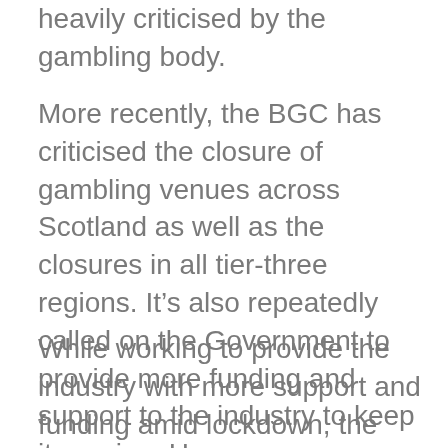heavily criticised by the gambling body.
More recently, the BGC has criticised the closure of gambling venues across Scotland as well as the closures in all tier-three regions. It's also repeatedly called on the Government to provide more funding and support to the industry to keep it running. However, many firms have already confirmed permanent venue closures and job losses.
While working to provide the industry with more support and funding amid lockdown, the BGC has also been working hard to drive up standards within the online industry by